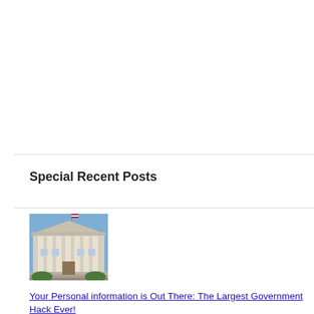Special Recent Posts
[Figure (photo): Photograph of a government building with classical columns and an American flag, taken from street level against a blue sky.]
Your Personal information is Out There: The Largest Government Hack Ever!
July 21st, 2015
When the Office of Personnel Management began investigating a data breach, it was already a [...]